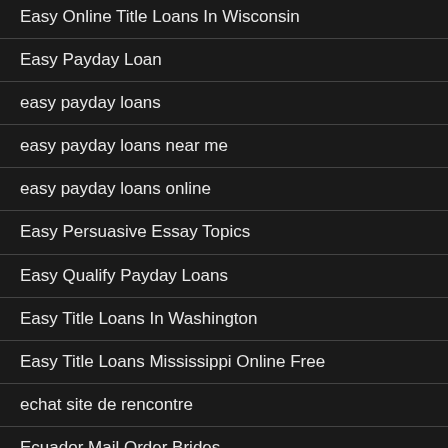Easy Online Title Loans In Wisconsin
Easy Payday Loan
easy payday loans
easy payday loans near me
easy payday loans online
Easy Persuasive Essay Topics
Easy Qualify Payday Loans
Easy Title Loans In Washington
Easy Title Loans Mississippi Online Free
echat site de rencontre
Ecuador Mail Order Brides
EDarling free app
EduNews